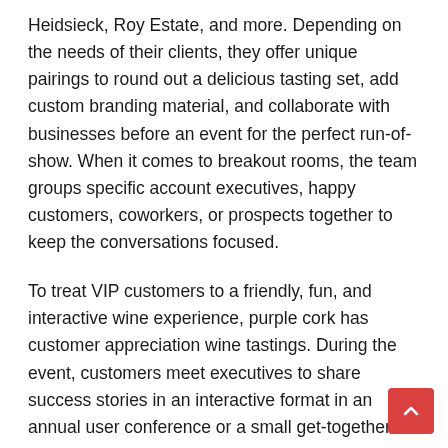Heidsieck, Roy Estate, and more. Depending on the needs of their clients, they offer unique pairings to round out a delicious tasting set, add custom branding material, and collaborate with businesses before an event for the perfect run-of-show. When it comes to breakout rooms, the team groups specific account executives, happy customers, coworkers, or prospects together to keep the conversations focused.
To treat VIP customers to a friendly, fun, and interactive wine experience, purple cork has customer appreciation wine tastings. During the event, customers meet executives to share success stories in an interactive format in an annual user conference or a small get-together.